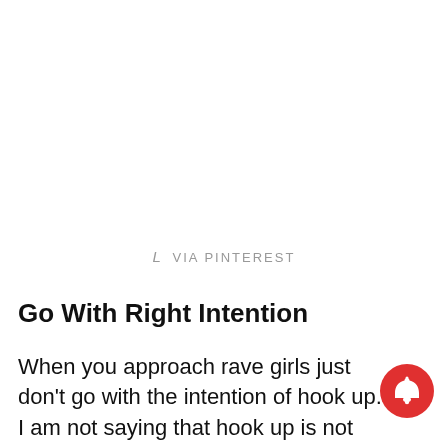L  VIA PINTEREST
Go With Right Intention
When you approach rave girls just don't go with the intention of hook up. I am not saying that hook up is not allowed just step by step doesn't be in a hurry.